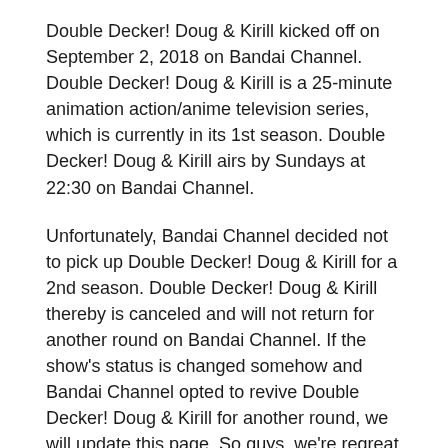Double Decker! Doug & Kirill kicked off on September 2, 2018 on Bandai Channel. Double Decker! Doug & Kirill is a 25-minute animation action/anime television series, which is currently in its 1st season. Double Decker! Doug & Kirill airs by Sundays at 22:30 on Bandai Channel.
Unfortunately, Bandai Channel decided not to pick up Double Decker! Doug & Kirill for a 2nd season. Double Decker! Doug & Kirill thereby is canceled and will not return for another round on Bandai Channel. If the show's status is changed somehow and Bandai Channel opted to revive Double Decker! Doug & Kirill for another round, we will update this page. So guys, we're regreat to report the bad news. Stay tuned for updates. We'll inform you if something has changed.